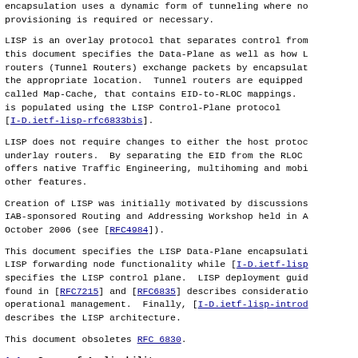encapsulation uses a dynamic form of tunneling where no provisioning is required or necessary.
LISP is an overlay protocol that separates control from this document specifies the Data-Plane as well as how L routers (Tunnel Routers) exchange packets by encapsulat the appropriate location.  Tunnel routers are equipped called Map-Cache, that contains EID-to-RLOC mappings. is populated using the LISP Control-Plane protocol [I-D.ietf-lisp-rfc6833bis].
LISP does not require changes to either the host proto underlay routers.  By separating the EID from the RLOC offers native Traffic Engineering, multihoming and mobi other features.
Creation of LISP was initially motivated by discussions IAB-sponsored Routing and Addressing Workshop held in A October 2006 (see [RFC4984]).
This document specifies the LISP Data-Plane encapsulati LISP forwarding node functionality while [I-D.ietf-lisp specifies the LISP control plane.  LISP deployment guid found in [RFC7215] and [RFC6835] describes consideratio operational management.  Finally, [I-D.ietf-lisp-introd describes the LISP architecture.
This document obsoletes RFC 6830.
1.1.  Scope of Applicability